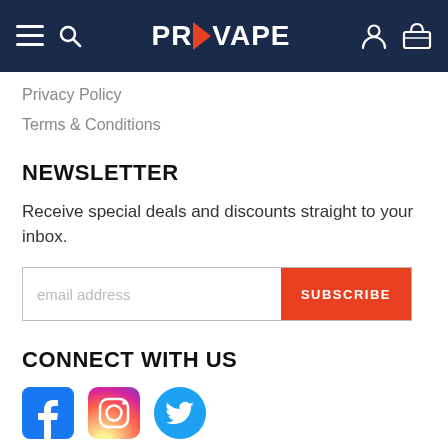PROVAPE
Privacy Policy
Terms & Conditions
NEWSLETTER
Receive special deals and discounts straight to your inbox.
[Figure (other): Email subscription form with email address input and SUBSCRIBE button]
CONNECT WITH US
[Figure (other): Social media icons: Facebook, Instagram, Twitter]